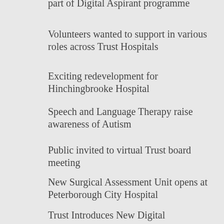part of Digital Aspirant programme
Volunteers wanted to support in various roles across Trust Hospitals
Exciting redevelopment for Hinchingbrooke Hospital
Speech and Language Therapy raise awareness of Autism
Public invited to virtual Trust board meeting
New Surgical Assessment Unit opens at Peterborough City Hospital
Trust Introduces New Digital Appointment Management System